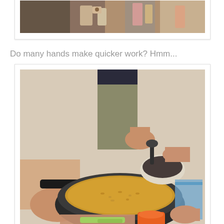[Figure (photo): Top portion of a photo showing people around a table with food/drinks, partially cropped at top of page]
Do many hands make quicker work?  Hmm...
[Figure (photo): Multiple hands working together around a pan of food (grains/lentils), with measuring spoons and cups, cooking outdoors]
[Figure (photo): Bottom photo partially visible showing dark cups/containers on a surface, cropped at bottom of page]